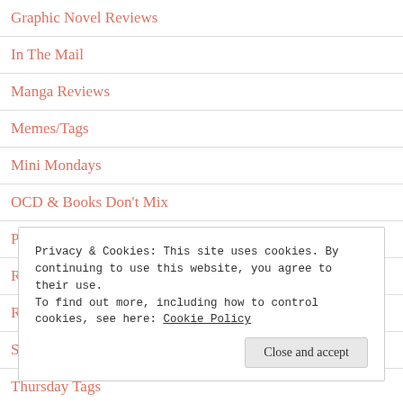Graphic Novel Reviews
In The Mail
Manga Reviews
Memes/Tags
Mini Mondays
OCD & Books Don't Mix
Personal Ramblings
Read-A-Thons
Reading and Writing Musings
Sunday Shopping
Thursday Tags
Privacy & Cookies: This site uses cookies. By continuing to use this website, you agree to their use.
To find out more, including how to control cookies, see here: Cookie Policy
Close and accept